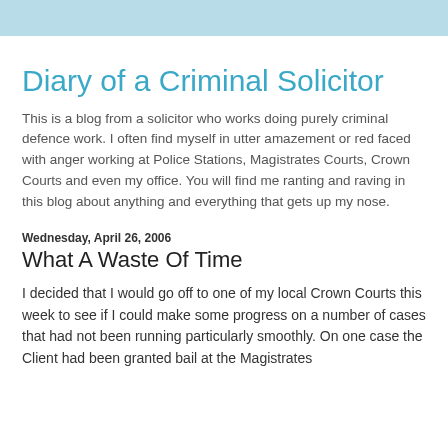Diary of a Criminal Solicitor
This is a blog from a solicitor who works doing purely criminal defence work. I often find myself in utter amazement or red faced with anger working at Police Stations, Magistrates Courts, Crown Courts and even my office. You will find me ranting and raving in this blog about anything and everything that gets up my nose.
Wednesday, April 26, 2006
What A Waste Of Time
I decided that I would go off to one of my local Crown Courts this week to see if I could make some progress on a number of cases that had not been running particularly smoothly. On one case the Client had been granted bail at the Magistrates